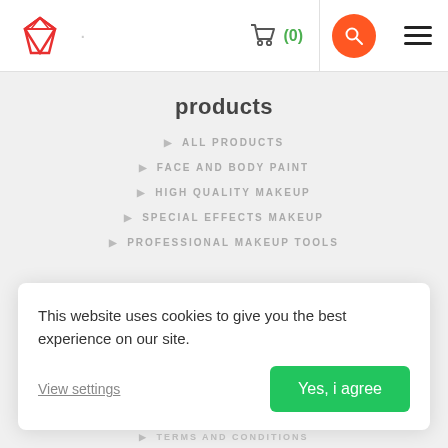[Figure (logo): Red diamond/gem outline logo (Ruby on Rails or similar gem icon) in top left header]
(0) shopping cart icon, search button, hamburger menu
products
ALL PRODUCTS
FACE AND BODY PAINT
HIGH QUALITY MAKEUP
SPECIAL EFFECTS MAKEUP
PROFESSIONAL MAKEUP TOOLS
This website uses cookies to give you the best experience on our site.
View settings
Yes, i agree
TERMS AND CONDITIONS